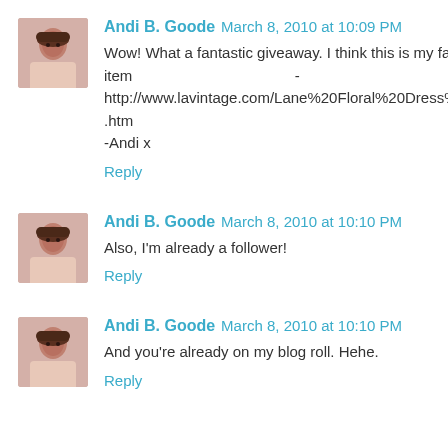Andi B. Goode  March 8, 2010 at 10:09 PM
Wow! What a fantastic giveaway. I think this is my favourite item - http://www.lavintage.com/Lane%20Floral%20Dress%2050s.htm
-Andi x
Reply
Andi B. Goode  March 8, 2010 at 10:10 PM
Also, I'm already a follower!
Reply
Andi B. Goode  March 8, 2010 at 10:10 PM
And you're already on my blog roll. Hehe.
Reply